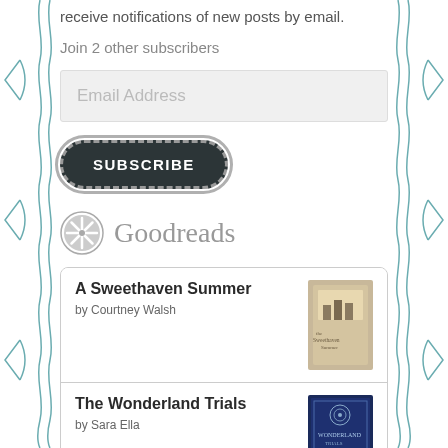receive notifications of new posts by email.
Join 2 other subscribers
Email Address
SUBSCRIBE
Goodreads
A Sweethaven Summer by Courtney Walsh
The Wonderland Trials by Sara Ella